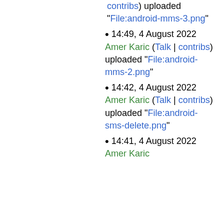(contribs) uploaded "File:android-mms-3.png"
14:49, 4 August 2022 Amer Karic (Talk | contribs) uploaded "File:android-mms-2.png"
14:42, 4 August 2022 Amer Karic (Talk | contribs) uploaded "File:android-sms-delete.png"
14:41, 4 August 2022 Amer Karic